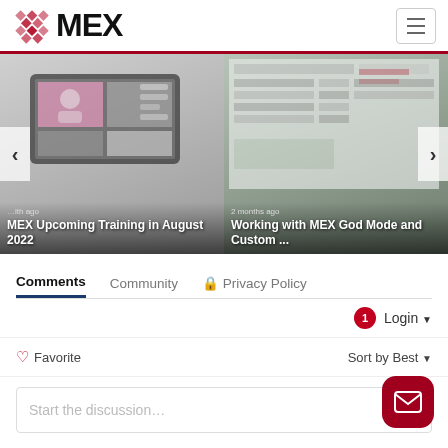[Figure (logo): MEX logo with diamond pattern and bold MEX text]
[Figure (screenshot): Carousel showing two blog post thumbnails: 'MEX Upcoming Training in August 2022' (left) and 'Working with MEX God Mode and Custom ...' (right, 2 months ago), with left and right navigation arrows]
Comments   Community   Privacy Policy
1  Login
Favorite   Sort by Best
Start the discussion...
LOG IN WITH